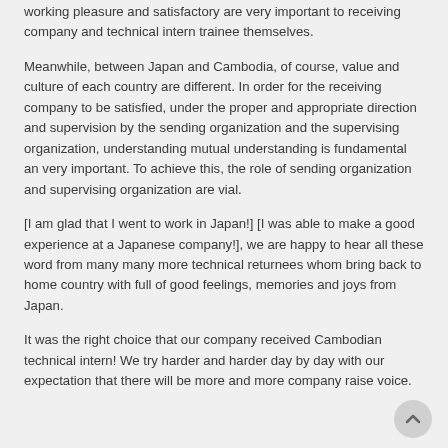working pleasure and satisfactory are very important to receiving company and technical intern trainee themselves.
Meanwhile, between Japan and Cambodia, of course, value and culture of each country are different. In order for the receiving company to be satisfied, under the proper and appropriate direction and supervision by the sending organization and the supervising organization, understanding mutual understanding is fundamental an very important. To achieve this, the role of sending organization and supervising organization are vial.
[I am glad that I went to work in Japan!] [I was able to make a good experience at a Japanese company!], we are happy to hear all these word from many many more technical returnees whom bring back to home country with full of good feelings, memories and joys from Japan.
It was the right choice that our company received Cambodian technical intern! We try harder and harder day by day with our expectation that there will be more and more company raise voice.